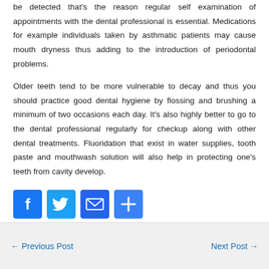be detected that's the reason regular self examination of appointments with the dental professional is essential. Medications for example individuals taken by asthmatic patients may cause mouth dryness thus adding to the introduction of periodontal problems.
Older teeth tend to be more vulnerable to decay and thus you should practice good dental hygiene by flossing and brushing a minimum of two occasions each day. It's also highly better to go to the dental professional regularly for checkup along with other dental treatments. Fluoridation that exist in water supplies, tooth paste and mouthwash solution will also help in protecting one's teeth from cavity develop.
[Figure (infographic): Social sharing buttons: Facebook (blue), Twitter (light blue), Mail (blue), Share/Plus (blue)]
← Previous Post    Next Post →